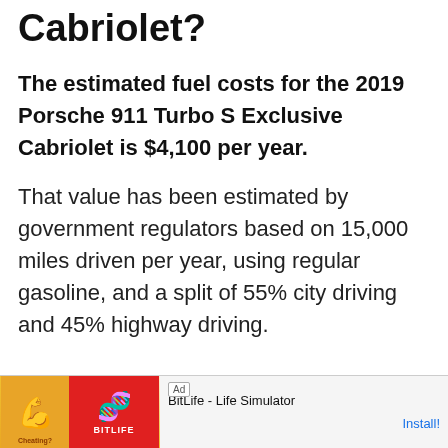Cabriolet?
The estimated fuel costs for the 2019 Porsche 911 Turbo S Exclusive Cabriolet is $4,100 per year.
That value has been estimated by government regulators based on 15,000 miles driven per year, using regular gasoline, and a split of 55% city driving and 45% highway driving.
[Figure (other): Ad banner for BitLife - Life Simulator app with muscle arm graphic on yellow background and red BitLife logo section. Shows 'Ad' label, app name 'BitLife - Life Simulator', and 'Install!' button.]